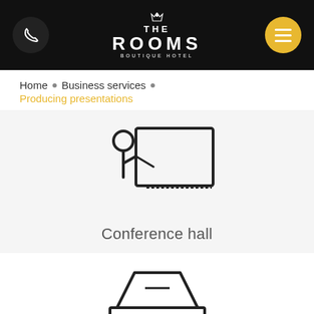[Figure (logo): The Rooms Boutique Hotel logo — white text on black header bar with crown symbol above THE ROOMS]
Home • Business services • Producing presentations
[Figure (illustration): Icon of a person presenting at a board/screen — conference hall icon]
Conference hall
[Figure (illustration): Icon of a copier/scanner/fax machine]
Copier and fax